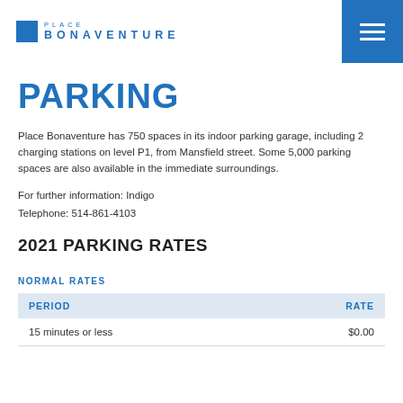PLACE BONAVENTURE
PARKING
Place Bonaventure has 750 spaces in its indoor parking garage, including 2 charging stations on level P1, from Mansfield street. Some 5,000 parking spaces are also available in the immediate surroundings.
For further information: Indigo
Telephone: 514-861-4103
2021 PARKING RATES
NORMAL RATES
| PERIOD | RATE |
| --- | --- |
| 15 minutes or less | $0.00 |